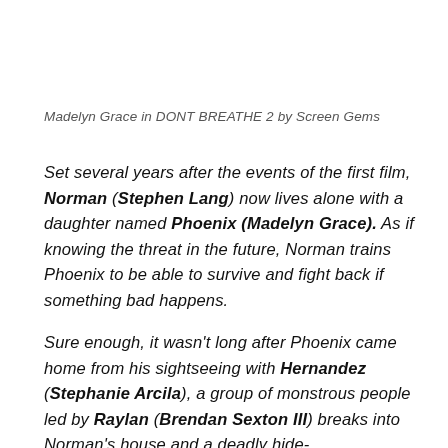Madelyn Grace in DONT BREATHE 2 by Screen Gems
Set several years after the events of the first film, Norman (Stephen Lang) now lives alone with a daughter named Phoenix (Madelyn Grace). As if knowing the threat in the future, Norman trains Phoenix to be able to survive and fight back if something bad happens.
Sure enough, it wasn't long after Phoenix came home from his sightseeing with Hernandez (Stephanie Arcila), a group of monstrous people led by Raylan (Brendan Sexton III) breaks into Norman's house and a deadly hide-